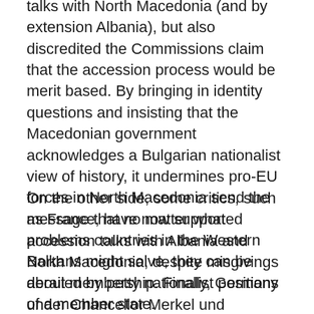talks with North Macedonia (and by extension Albania), but also discredited the Commissions claim that the accession process would be merit based. By bringing in identity questions and insisting that the Macedonian government acknowledges a Bulgarian nationalist view of history, it undermines pro-EU forces in North Macedonia send the message that no matter what problems countries in the Western Balkans might solve, they can be derailed by petty nationalist positions of a member state.
On the other side, some critics, such as France, have now supported accession talks with Albania and North Macedonia, despite misgivings about membership. Finally, Germany under Chancellor Merkel und Commission president van der Leyen have supported enlargement, but hurt it, but not sending clearer messages to the region and